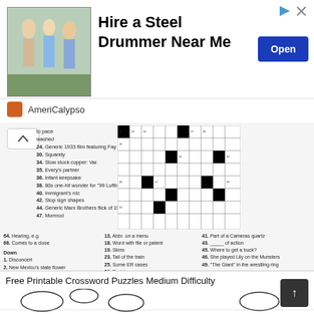[Figure (photo): Advertisement banner for AmeriCalypso: photo of people dancing, text 'Hire a Steel Drummer Near Me', Open button]
[Figure (other): Crossword puzzle grid with black and white squares and clue numbers]
to pace
washed
24. Generic 1933 film featuring Fay Wray?
30. Squarely
34. Slow stock copper: Var.
35. Every's partner
36. Infant keepsake
38. 80s one-hit wonder for "99 Luftballons"
40. Immigrant's rdc
42. Stop sign shapes
44. Generic Marx Brothers flick of 1931?
47. Momrod
64. Hearing, e.g.
68. Comes to a close

Down
1. Disconcert
2. New Mexico's state flower
3. These subsist
13. Abbr. on a menu
18. Word with file or patent
19. Skins
23. Tail of the train
25. Some ER cases
26. Derisive cry
41. Part of a Cameras quartz
43. _____ of action
45. Where to get a buck?
46. She played Lily on the Munsters
49. "The Giant" in the wrestling ring
Free Printable Crossword Puzzles Medium Difficulty
[Figure (illustration): Black and white coloring page illustration of a horse with floral decorations and leaves]